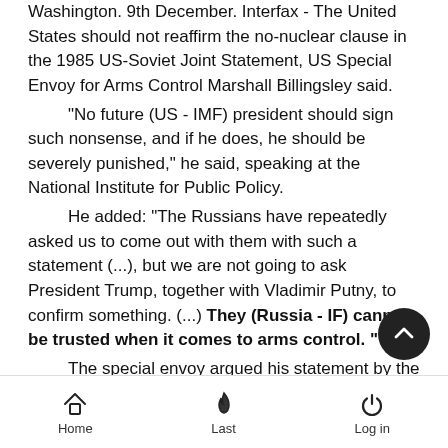Washington. 9th December. Interfax - The United States should not reaffirm the no-nuclear clause in the 1985 US-Soviet Joint Statement, US Special Envoy for Arms Control Marshall Billingsley said.
"No future (US - IMF) president should sign such nonsense, and if he does, he should be severely punished," he said, speaking at the National Institute for Public Policy.
He added: "The Russians have repeatedly asked us to come out with them with such a statement (...), but we are not going to ask President Trump, together with Vladimir Putny, to confirm something. (...) They (Russia - IF) cannot be trusted when it comes to arms control. "
The special envoy argued his statement by the fact that "Russia continues to behave as if there was some difference between the use of strategic and tactical nuclear weapons," although, according to him, the United States had warned th any case this would lead to "strategic consequences ".
"This is probably because their military plans to invade NATO
Home   Last   Log in